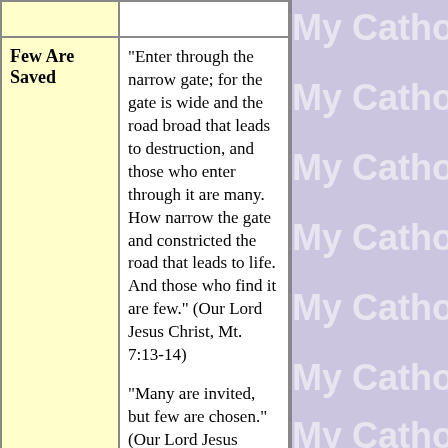| Few Are Saved | "Enter through the narrow gate; for the gate is wide and the road broad that leads to destruction, and those who enter through it are many. How narrow the gate and constricted the road that leads to life. And those who find it are few." (Our Lord Jesus Christ, Mt. 7:13-14)

"Many are invited, but few are chosen." (Our Lord Jesus Christ, Mt. 22:14)

"Someone asked [Jesus], 'Lord, will only a few people be saved?' He answered them, 'Strive to enter through' |